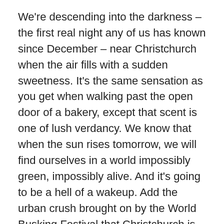We're descending into the darkness – the first real night any of us has known since December – near Christchurch when the air fills with a sudden sweetness. It's the same sensation as you get when walking past the open door of a bakery, except that scent is one of lush verdancy. We know that when the sun rises tomorrow, we will find ourselves in a world impossibly green, impossibly alive. And it's going to be a hell of a wakeup. Add the urban crush brought on by the World Busking Festival that Christchurch is hosting this week, and it all adds up to a bit of a shock to the system.
I'm taking a few days in NZ before continuing home, hoping to decompress and de-toastify myself a bit before Devon and the kids have to put up with me. No actual plans yet, but I'm hoping it'll be less eventful than my last time in Christchurch, though experience suggests that that hope will...